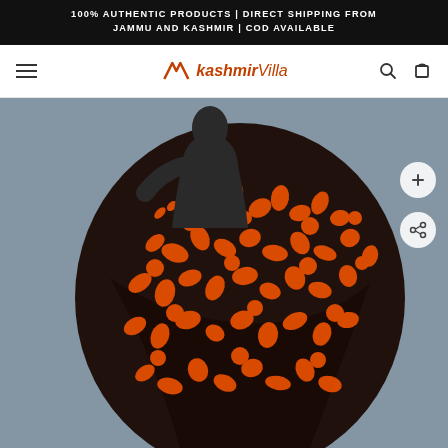100% AUTHENTIC PRODUCTS | DIRECT SHIPPING FROM JAMMU AND KASHMIR | COD AVAILABLE
[Figure (logo): KashmirVilla logo with hamburger menu, search and cart icons in navigation bar]
[Figure (photo): A mannequin draped in a black shawl with dense orange/red floral and leaf embroidery (Kashmiri work), with zoom and share action buttons on the right side]